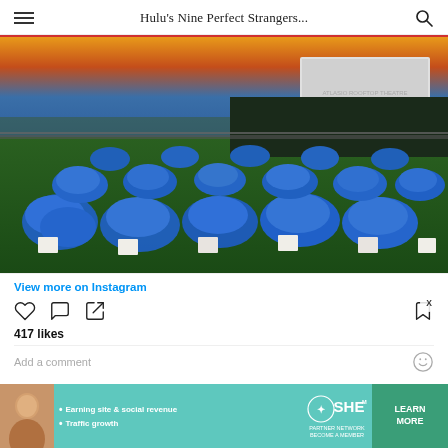Hulu's Nine Perfect Strangers...
[Figure (photo): Rooftop outdoor cinema with many large blue bean bag chairs arranged on grass, with a projection screen visible in the background and a city skyline at sunset]
View more on Instagram
417 likes
Add a comment
[Figure (infographic): SHE Media Partner Network advertisement banner with woman photo, bullet points 'Earning site & social revenue' and 'Traffic growth', SHE Media logo, and 'LEARN MORE' button]